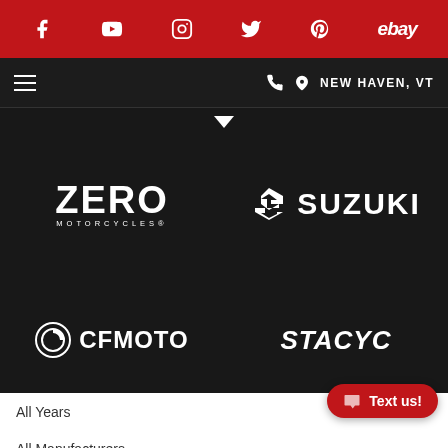[Figure (screenshot): Social media top bar with icons for Facebook, YouTube, Instagram, Twitter, Pinterest, and eBay on red background]
[Figure (screenshot): Navigation bar with hamburger menu, phone icon, location pin, and text NEW HAVEN, VT on dark background]
[Figure (logo): Zero Motorcycles logo in white on black background]
[Figure (logo): Suzuki logo with S emblem in white on black background]
[Figure (logo): CFMOTO logo with circular icon in white on black background]
[Figure (logo): STACYC logo in white on black background]
All Conditions
All Years
All Manufacturers